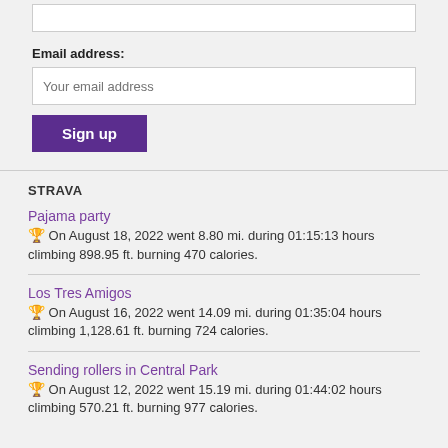Email address:
Your email address
Sign up
STRAVA
Pajama party — On August 18, 2022 went 8.80 mi. during 01:15:13 hours climbing 898.95 ft. burning 470 calories.
Los Tres Amigos — On August 16, 2022 went 14.09 mi. during 01:35:04 hours climbing 1,128.61 ft. burning 724 calories.
Sending rollers in Central Park — On August 12, 2022 went 15.19 mi. during 01:44:02 hours climbing 570.21 ft. burning 977 calories.